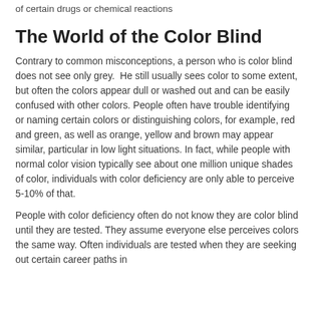of certain drugs or chemical reactions
The World of the Color Blind
Contrary to common misconceptions, a person who is color blind does not see only grey.  He still usually sees color to some extent, but often the colors appear dull or washed out and can be easily confused with other colors. People often have trouble identifying or naming certain colors or distinguishing colors, for example, red and green, as well as orange, yellow and brown may appear similar, particular in low light situations. In fact, while people with normal color vision typically see about one million unique shades of color, individuals with color deficiency are only able to perceive 5-10% of that.
People with color deficiency often do not know they are color blind until they are tested. They assume everyone else perceives colors the same way. Often individuals are tested when they are seeking out certain career paths in